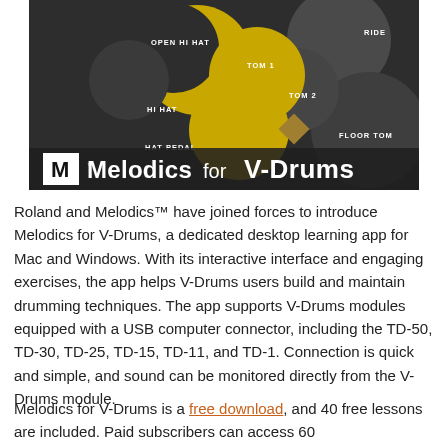[Figure (illustration): Melodics for V-Drums promotional image. Dark background with yellow and grey drum pad circles labeled: OPEN HI HAT, HI HAT, TOM 1, TOM 2, RIDE, HAT PEDAL, FLOOR TOM. The Melodics logo (M in white box) and 'Melodics for V-Drums' branding text appears at the bottom of the image.]
Roland and Melodics™ have joined forces to introduce Melodics for V-Drums, a dedicated desktop learning app for Mac and Windows. With its interactive interface and engaging exercises, the app helps V-Drums users build and maintain drumming techniques. The app supports V-Drums modules equipped with a USB computer connector, including the TD-50, TD-30, TD-25, TD-15, TD-11, and TD-1. Connection is quick and simple, and sound can be monitored directly from the V-Drums module.
Melodics for V-Drums is a free download, and 40 free lessons are included. Paid subscribers can access 60